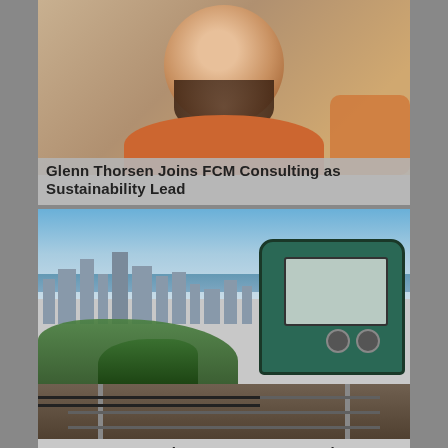[Figure (photo): Portrait photo of Glenn Thorsen, a bearded man wearing an orange sweater, photographed from the shoulders up]
Glenn Thorsen Joins FCM Consulting as Sustainability Lead
[Figure (photo): Photo of Hong Kong's Peak Tram, a green tram car on tracks with Hong Kong city skyline and water in the background]
Hong Kong's Peak Tram Resumes Service
[Figure (photo): Partially visible third article photo at the bottom of the page]